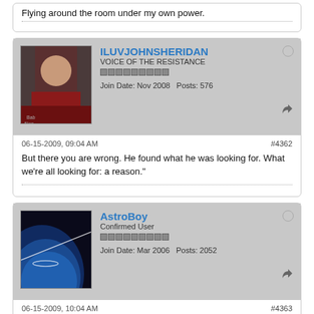Flying around the room under my own power.
ILUVJOHNSHERIDAN
VOICE OF THE RESISTANCE
Join Date: Nov 2008  Posts: 576
06-15-2009, 09:04 AM  #4362
But there you are wrong. He found what he was looking for. What we're all looking for: a reason."
AstroBoy
Confirmed User
Join Date: Mar 2006  Posts: 2052
06-15-2009, 10:04 AM  #4363
Originally posted by ILUVJOHNSHERIDAN